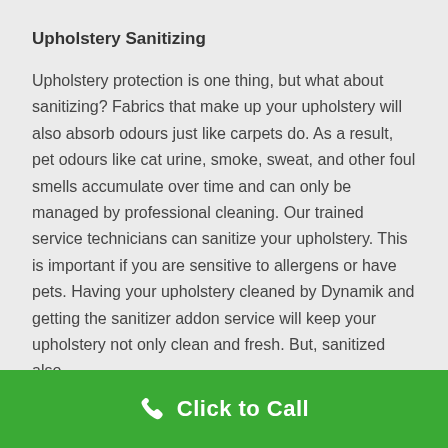Upholstery Sanitizing
Upholstery protection is one thing, but what about sanitizing? Fabrics that make up your upholstery will also absorb odours just like carpets do. As a result, pet odours like cat urine, smoke, sweat, and other foul smells accumulate over time and can only be managed by professional cleaning. Our trained service technicians can sanitize your upholstery. This is important if you are sensitive to allergens or have pets. Having your upholstery cleaned by Dynamik and getting the sanitizer addon service will keep your upholstery not only clean and fresh. But, sanitized also.
Click to Call